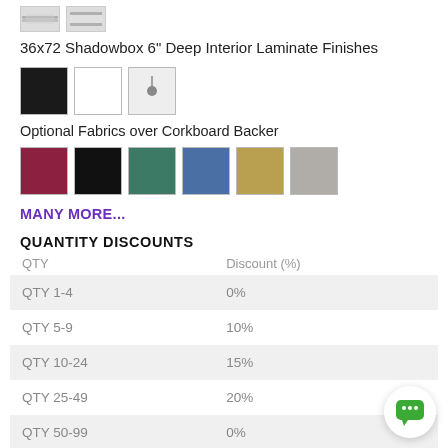[Figure (photo): Two product thumbnail images of shadowbox frame profiles]
36x72 Shadowbox 6" Deep Interior Laminate Finishes
[Figure (illustration): Three color swatches: black, white, and pin/silver]
Optional Fabrics over Corkboard Backer
[Figure (illustration): Six fabric swatches: burgundy/red, black, teal/green, blue, tan/gold, grey]
MANY MORE...
QUANTITY DISCOUNTS
| QTY | Discount (%) |
| --- | --- |
| QTY 1-4 | 0% |
| QTY 5-9 | 10% |
| QTY 10-24 | 15% |
| QTY 25-49 | 20% |
| QTY 50-99 | 0% |